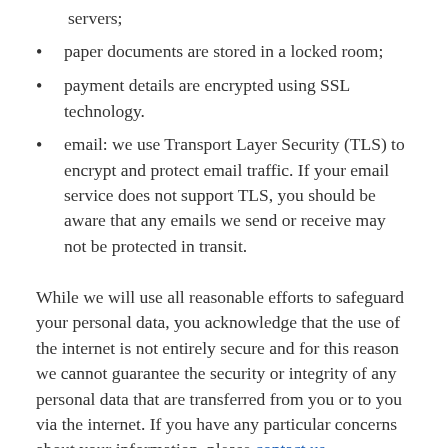servers;
paper documents are stored in a locked room;
payment details are encrypted using SSL technology.
email: we use Transport Layer Security (TLS) to encrypt and protect email traffic. If your email service does not support TLS, you should be aware that any emails we send or receive may not be protected in transit.
While we will use all reasonable efforts to safeguard your personal data, you acknowledge that the use of the internet is not entirely secure and for this reason we cannot guarantee the security or integrity of any personal data that are transferred from you or to you via the internet. If you have any particular concerns about your information, please contact us.